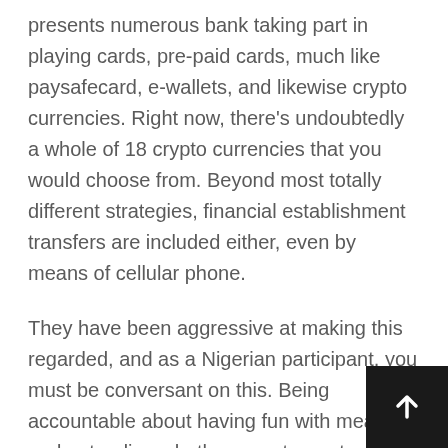presents numerous bank taking part in playing cards, pre-paid cards, much like paysafecard, e-wallets, and likewise crypto currencies. Right now, there's undoubtedly a whole of 18 crypto currencies that you would choose from. Beyond most totally different strategies, financial establishment transfers are included either, even by means of cellular phone.
They have been aggressive at making this regarded, and as a Nigerian participant, you must be conversant on this. Being accountable about having fun with means understanding whether or not or not or not or not or to not gamble, how lots money or how heaps time Bookmakers.wager you'll uncover the most effective and most dependable on-line